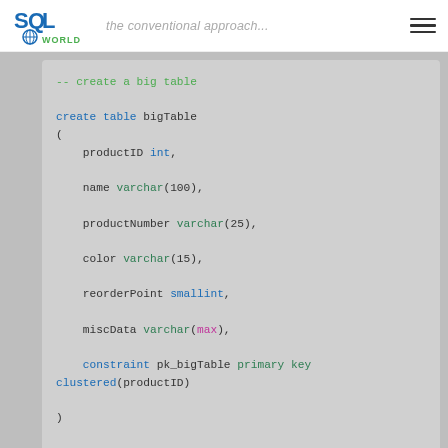SQL World — Taking the Mystery out of SQL Server / the conventional approach...
-- create a big table

create table bigTable
(
    productID int,
    name varchar(100),
    productNumber varchar(25),
    color varchar(15),
    reorderPoint smallint,
    miscData varchar(max),
    constraint pk_bigTable primary key clustered(productID)
)

insert into bigTable
select ProductID, Name, ProductNumber,